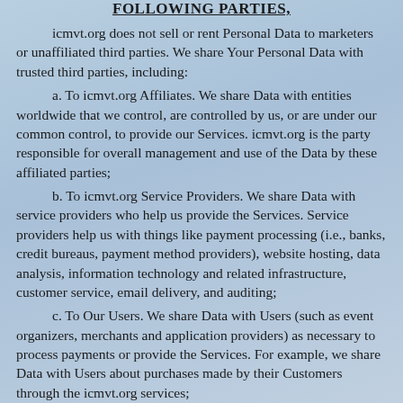FOLLOWING PARTIES,
icmvt.org does not sell or rent Personal Data to marketers or unaffiliated third parties. We share Your Personal Data with trusted third parties, including:
a. To icmvt.org Affiliates. We share Data with entities worldwide that we control, are controlled by us, or are under our common control, to provide our Services. icmvt.org is the party responsible for overall management and use of the Data by these affiliated parties;
b. To icmvt.org Service Providers. We share Data with service providers who help us provide the Services. Service providers help us with things like payment processing (i.e., banks, credit bureaus, payment method providers), website hosting, data analysis, information technology and related infrastructure, customer service, email delivery, and auditing;
c. To Our Users. We share Data with Users (such as event organizers, merchants and application providers) as necessary to process payments or provide the Services. For example, we share Data with Users about purchases made by their Customers through the icmvt.org services;
d. To Authorized Third Parties. We share data with parties directly authorized by a User to receive Data, such as when a User authorizes a third party application provider to access the User's